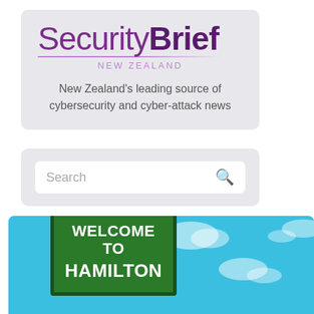[Figure (logo): SecurityBrief New Zealand logo with tagline 'New Zealand's leading source of cybersecurity and cyber-attack news']
[Figure (screenshot): Search bar with placeholder text 'Search' and a magnifying glass icon]
[Figure (photo): Photo of a green road sign reading 'WELCOME TO HAMILTON' against a blue sky with white clouds]